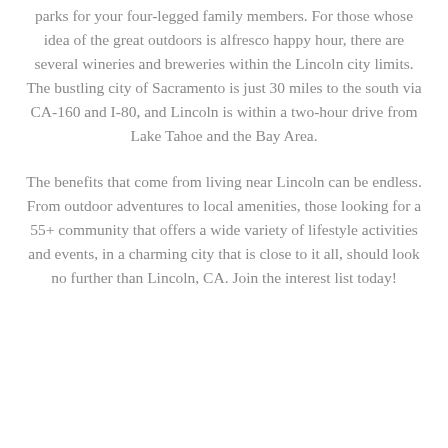parks for your four-legged family members. For those whose idea of the great outdoors is alfresco happy hour, there are several wineries and breweries within the Lincoln city limits. The bustling city of Sacramento is just 30 miles to the south via CA-160 and I-80, and Lincoln is within a two-hour drive from Lake Tahoe and the Bay Area.
The benefits that come from living near Lincoln can be endless. From outdoor adventures to local amenities, those looking for a 55+ community that offers a wide variety of lifestyle activities and events, in a charming city that is close to it all, should look no further than Lincoln, CA. Join the interest list today!